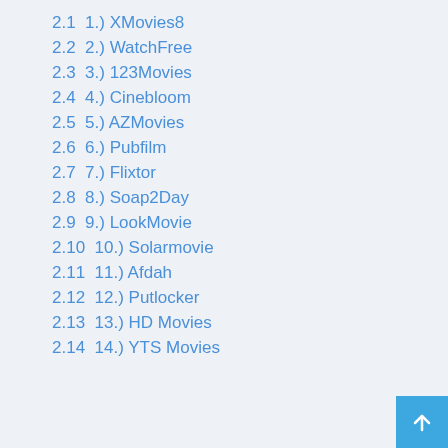2.1  1.) XMovies8
2.2  2.) WatchFree
2.3  3.) 123Movies
2.4  4.) Cinebloom
2.5  5.) AZMovies
2.6  6.) Pubfilm
2.7  7.) Flixtor
2.8  8.) Soap2Day
2.9  9.) LookMovie
2.10  10.) Solarmovie
2.11  11.) Afdah
2.12  12.) Putlocker
2.13  13.) HD Movies
2.14  14.) YTS Movies